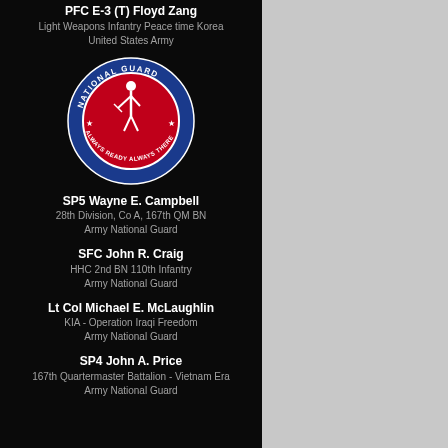PFC E-3 (T) Floyd Zang
Light Weapons Infantry Peace time Korea
United States Army
[Figure (logo): National Guard circular logo with red center, blue border, soldier figure, and text 'Always Ready Always There']
SP5 Wayne E. Campbell
28th Division, Co A, 167th QM BN
Army National Guard
SFC John R. Craig
HHC 2nd BN 110th Infantry
Army National Guard
Lt Col Michael E. McLaughlin
KIA - Operation Iraqi Freedom
Army National Guard
SP4 John A. Price
167th Quartermaster Battalion - Vietnam Era
Army National Guard